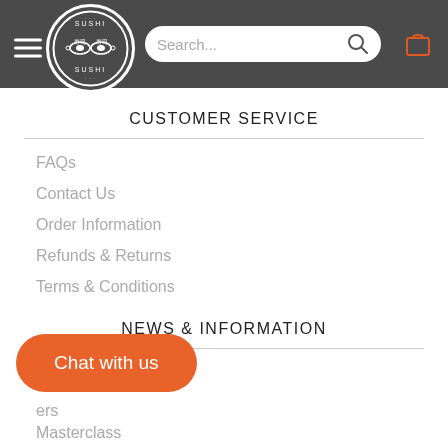Sushi Sushi - header navigation with logo, search bar, and cart icon
CUSTOMER SERVICE
FAQs
Contact Us
Order Information
Refunds & Returns
Terms & Conditions
NEWS & INFORMATION
[Figure (other): Chat with us button (orange pill-shaped button)]
...ers
Masterclass